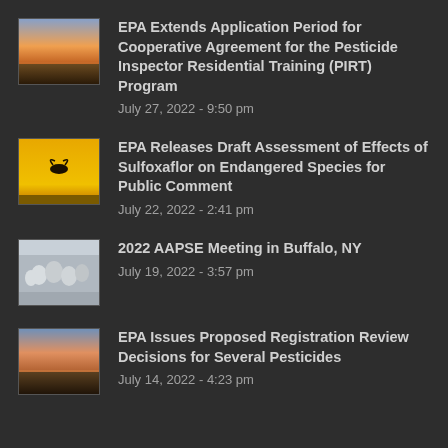EPA Extends Application Period for Cooperative Agreement for the Pesticide Inspector Residential Training (PIRT) Program
July 27, 2022 - 9:50 pm
EPA Releases Draft Assessment of Effects of Sulfoxaflor on Endangered Species for Public Comment
July 22, 2022 - 2:41 pm
2022 AAPSE Meeting in Buffalo, NY
July 19, 2022 - 3:57 pm
EPA Issues Proposed Registration Review Decisions for Several Pesticides
July 14, 2022 - 4:23 pm